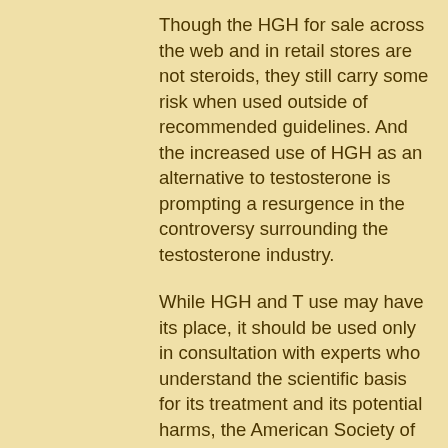Though the HGH for sale across the web and in retail stores are not steroids, they still carry some risk when used outside of recommended guidelines. And the increased use of HGH as an alternative to testosterone is prompting a resurgence in the controversy surrounding the testosterone industry.
While HGH and T use may have its place, it should be used only in consultation with experts who understand the scientific basis for its treatment and its potential harms, the American Society of Clinical Oncology (ASCO) has said in its 2015 guidelines.
"HGH use should always be monitored with a specialized physician [either a general oncologist or a clinical oncologist], who can advise about the possible interactions between HGH and any prescribed medications and whether and when to